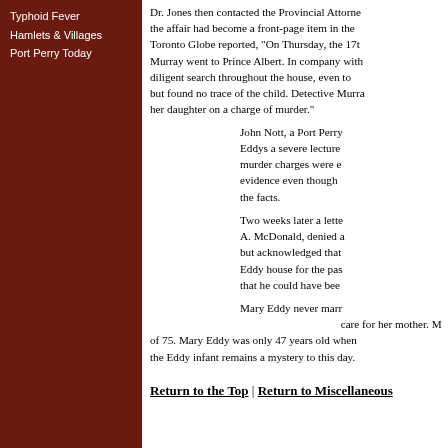Typhoid Fever
Hamlets & Villages
Port Perry Today
Dr. Jones then contacted the Provincial Attorne... the affair had become a front-page item in the Toronto Globe reported, "On Thursday, the 17t... Murray went to Prince Albert. In company with diligent search throughout the house, even to but found no trace of the child. Detective Murra... her daughter on a charge of murder."
John Nott, a Port Perry... Eddys a severe lecture... murder charges were e... evidence even though the facts.
Two weeks later a lette... A. McDonald, denied a... but acknowledged that Eddy house for the pas... that he could have bee...
Mary Eddy never marr... care for her mother. M... of 75. Mary Eddy was only 47 years old when the Eddy infant remains a mystery to this day.
Return to the Top | Return to Miscellaneous